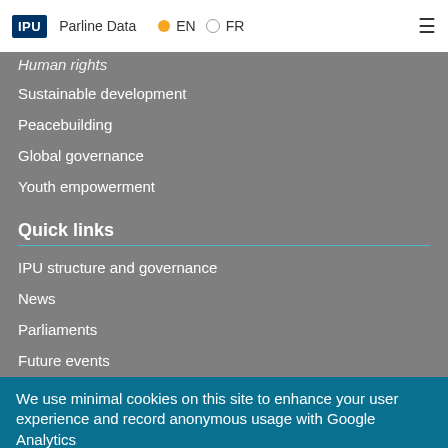IPU | Parline Data  EN  FR
Human rights
Sustainable development
Peacebuilding
Global governance
Youth empowerment
Quick links
IPU structure and governance
News
Parliaments
Future events
Percentage of women in parliament
Parline data
We use minimal cookies on this site to enhance your user experience and record anonymous usage with Google Analytics
By continuing to use the site, you agree to us doing so. Clicking the